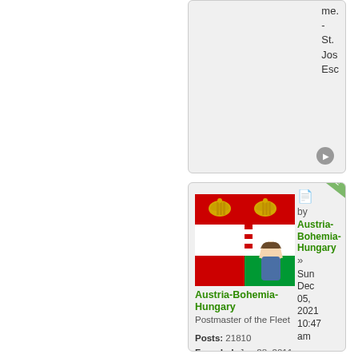me.
-
St.
Jos
Esc
[Figure (illustration): Austria-Bohemia-Hungary flag avatar with anime character overlay, showing red/white/green flag colors with imperial crowns]
Austria-Bohemia-Hungary
Postmaster of the Fleet
Posts: 21810
Founded: Jun 28, 2011
Civil Rights Lovefest
by Austria-Bohemia-Hungary » Sun Dec 05, 2021 10:47 am